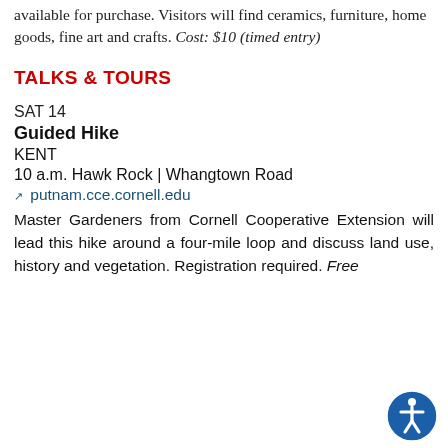available for purchase. Visitors will find ceramics, furniture, home goods, fine art and crafts. Cost: $10 (timed entry)
TALKS & TOURS
SAT 14
Guided Hike
KENT
10 a.m. Hawk Rock | Whangtown Road
putnam.cce.cornell.edu
Master Gardeners from Cornell Cooperative Extension will lead this hike around a four-mile loop and discuss land use, history and vegetation. Registration required. Free